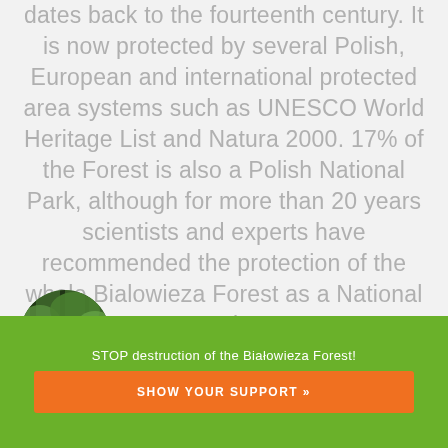dates back to the fourteenth century. It is now protected by several Polish, European and international protected area systems such as UNESCO World Heritage List and Natura 2000. 17% of the Forest is also a Polish National Park, although for more than 20 years scientists and experts have recommended the protection of the whole Bialowieza Forest as a National Park.
[Figure (photo): Circular photo of dense forest trees with green foliage]
NATIONAL PARK
STOP destruction of the Białowieza Forest!
SHOW YOUR SUPPORT »